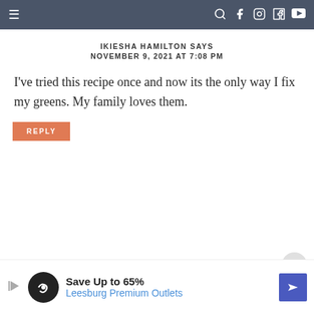Navigation bar with menu, search, facebook, instagram, pinterest, youtube icons
IKIESHA HAMILTON SAYS
NOVEMBER 9, 2021 AT 7:08 PM
I've tried this recipe once and now its the only way I fix my greens. My family loves them.
REPLY
NIKKI SIMMONS-PITTS SAYS
[Figure (other): Advertisement banner: Save Up to 65% Leesburg Premium Outlets]